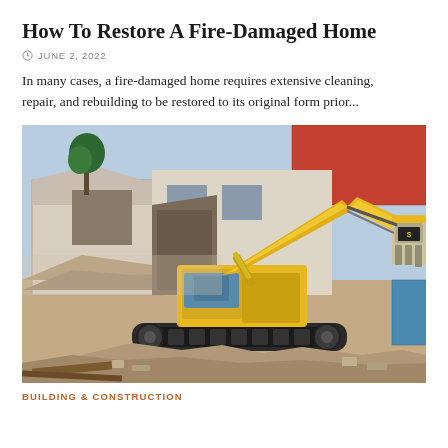How To Restore A Fire-Damaged Home
JUNE 2, 2022
In many cases, a fire-damaged home requires extensive cleaning, repair, and rebuilding to be restored to its original form prior...
[Figure (photo): A large yellow excavator/demolition machine working to demolish a damaged building, with rubble piled around it and a partially demolished structure in the background.]
BUILDING & CONSTRUCTION